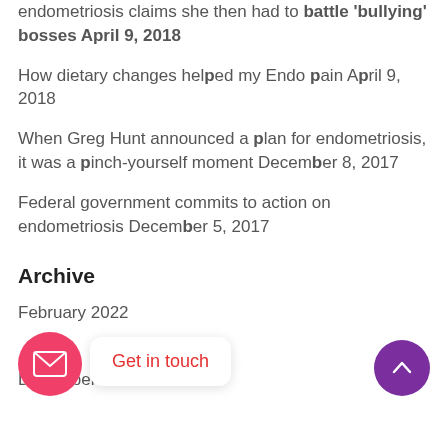endometriosis claims she then had to battle 'bullying' bosses April 9, 2018
How dietary changes helped my Endo pain April 9, 2018
When Greg Hunt announced a plan for endometriosis, it was a pinch-yourself moment December 8, 2017
Federal government commits to action on endometriosis December 5, 2017
Archive
February 2022
December 2017